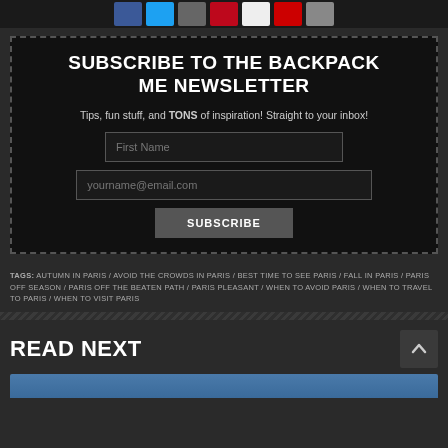[Figure (other): Row of social media sharing icon buttons (Facebook, Twitter, email, Pinterest, and others) on dark background]
SUBSCRIBE TO THE BACKPACK ME NEWSLETTER
Tips, fun stuff, and TONS of inspiration! Straight to your inbox!
First Name (input field)
yourname@email.com (input field)
SUBSCRIBE (button)
TAGS: AUTUMN IN PARIS / AVOID THE CROWDS IN PARIS / BEST TIME TO SEE PARIS / FALL IN PARIS / PARIS OFF SEASON / PARIS OFF THE BEATEN PATH / PARIS PLEASANT / WHEN TO AVOID PARIS / WHEN TO TRAVEL TO PARIS / WHEN TO VISIT PARIS
READ NEXT